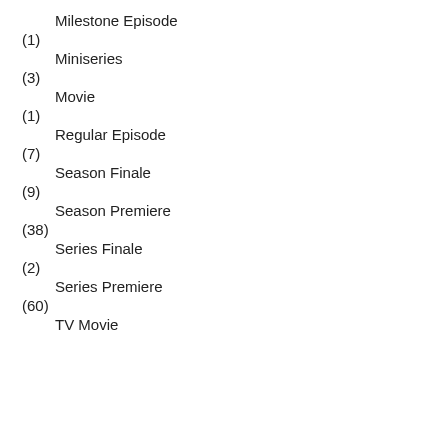Milestone Episode
(1)
Miniseries
(3)
Movie
(1)
Regular Episode
(7)
Season Finale
(9)
Season Premiere
(38)
Series Finale
(2)
Series Premiere
(60)
TV Movie